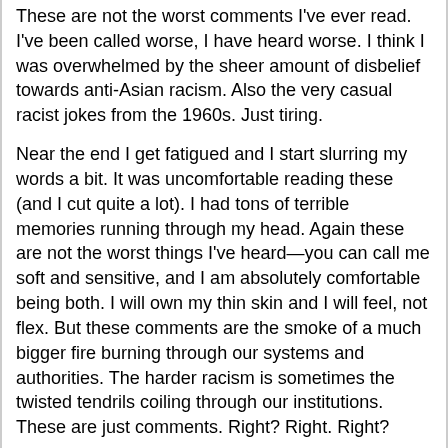These are not the worst comments I've ever read. I've been called worse, I have heard worse. I think I was overwhelmed by the sheer amount of disbelief towards anti-Asian racism. Also the very casual racist jokes from the 1960s. Just tiring.
Near the end I get fatigued and I start slurring my words a bit. It was uncomfortable reading these (and I cut quite a lot). I had tons of terrible memories running through my head. Again these are not the worst things I've heard—you can call me soft and sensitive, and I am absolutely comfortable being both. I will own my thin skin and I will feel, not flex. But these comments are the smoke of a much bigger fire burning through our systems and authorities. The harder racism is sometimes the twisted tendrils coiling through our institutions. These are just comments. Right? Right. Right?
I try to end on a note of hope. I know that's too easy, and being a chaplain I try to stay in the grief without bypassing it. But this time I had to end on hope. There's a long way to go, but we've come a long way too.
(Send prayers. And sorry for the lighting changes, Florida weather changing rapidly.)
#stopaapihate #asianamerican #race #racism #koreanamerican #tulsa #oklahoma #solidarity #compassion #grief #trauma #mentalhealth #facebook